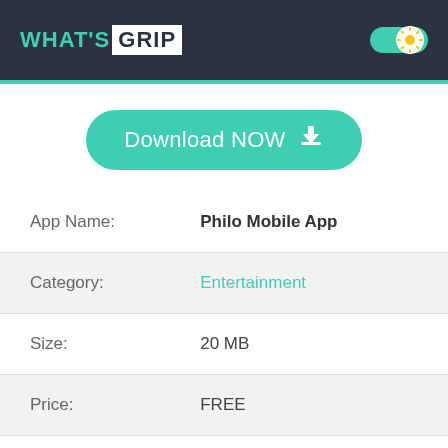WHAT'S GRIP
[Figure (other): Download NOW button with teal rounded rectangle background and download arrow icon]
| Field | Value |
| --- | --- |
| App Name: | Philo Mobile App |
| Category: | Entertainment |
| Size: | 20 MB |
| Price: | FREE |
| Developer: | Philo, Inc. |